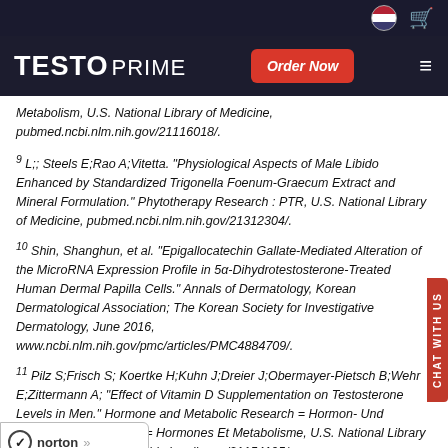TESTO PRIME | Order Now
Metabolism, U.S. National Library of Medicine, pubmed.ncbi.nlm.nih.gov/21116018/.
9 L;; Steels E;Rao A;Vitetta. "Physiological Aspects of Male Libido Enhanced by Standardized Trigonella Foenum-Graecum Extract and Mineral Formulation." Phytotherapy Research : PTR, U.S. National Library of Medicine, pubmed.ncbi.nlm.nih.gov/21312304/.
10 Shin, Shanghun, et al. "Epigallocatechin Gallate-Mediated Alteration of the MicroRNA Expression Profile in 5α-Dihydrotestosterone-Treated Human Dermal Papilla Cells." Annals of Dermatology, Korean Dermatological Association; The Korean Society for Investigative Dermatology, June 2016, www.ncbi.nlm.nih.gov/pmc/articles/PMC4884709/.
11 Pilz S;Frisch S; Koertke H;Kuhn J;Dreier J;Obermayer-Pietsch B;Wehr E;Zittermann A; "Effect of Vitamin D Supplementation on Testosterone Levels in Men." Hormone and Metabolic Research = Hormon- Und Stoffwechselforschung = Hormones Et Metabolisme, U.S. National Library of Medicine, pubmed.ncbi.nlm.nih.gov/21154195/.